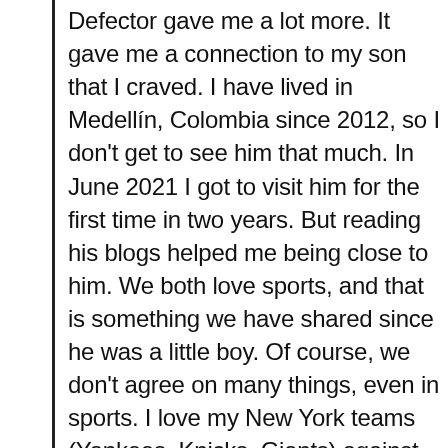Defector gave me a lot more. It gave me a connection to my son that I craved. I have lived in Medellín, Colombia since 2012, so I don't get to see him that much. In June 2021 I got to visit him for the first time in two years. But reading his blogs helped me being close to him. We both love sports, and that is something we have shared since he was a little boy. Of course, we don't agree on many things, even in sports. I love my New York teams (Yankees, Knicks, Giants) against his Marlins, Heat and Patriots. I guess nobody is perfect. Even in our love for soccer, we don't agree much. We only agree in rooting for our home country's lost cause (Venezuela) or our second home's never realized promise (USA). But I still got the upper hand this year with my Atletico vs. his Barcelona and my Manchester City vs. his